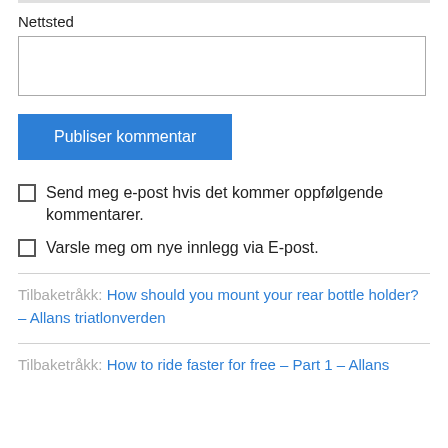Nettsted
Publiser kommentar
Send meg e-post hvis det kommer oppfølgende kommentarer.
Varsle meg om nye innlegg via E-post.
Tilbaketråkk: How should you mount your rear bottle holder? – Allans triatlonverden
Tilbaketråkk: How to ride faster for free – Part 1 – Allans